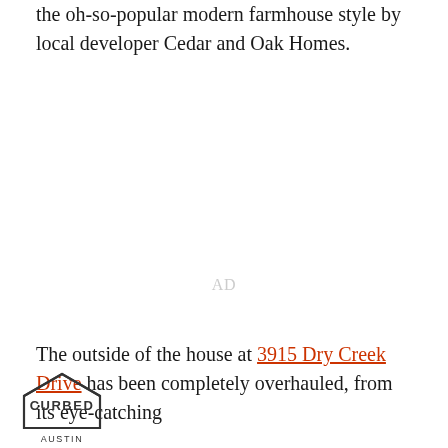the oh-so-popular modern farmhouse style by local developer Cedar and Oak Homes.
[Figure (other): Advertisement placeholder area labeled 'AD']
The outside of the house at 3915 Dry Creek Drive has been completely overhauled, from its eye-catching
[Figure (logo): Curbed Austin logo — house outline with 'CURBED' inside and 'AUSTIN' below]